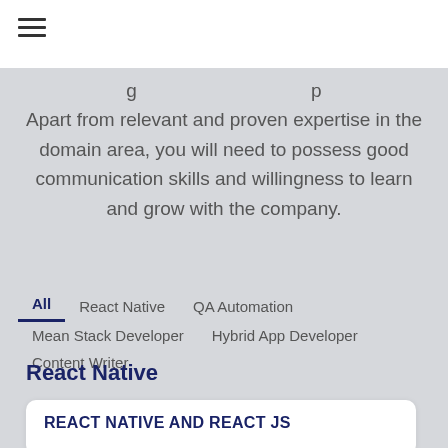≡
Apart from relevant and proven expertise in the domain area, you will need to possess good communication skills and willingness to learn and grow with the company.
All   React Native   QA Automation   Mean Stack Developer   Hybrid App Developer   Content Writer
React Native
REACT NATIVE AND REACT JS